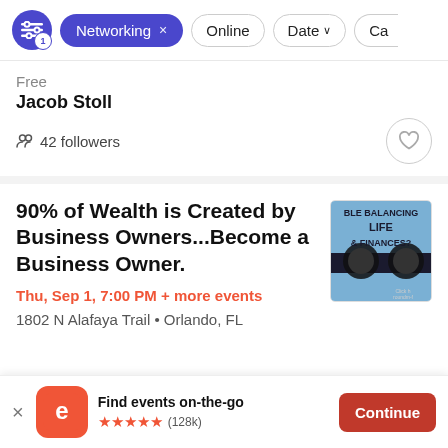[Figure (screenshot): Filter bar with settings icon badge '1', active blue 'Networking x' chip, 'Online' chip, 'Date ↓' chip, 'Cat' chip (partially visible)]
Free
Jacob Stoll
42 followers
90% of Wealth is Created by Business Owners...Become a Business Owner.
Thu, Sep 1, 7:00 PM + more events
1802 N Alafaya Trail • Orlando, FL
[Figure (photo): Event thumbnail showing text 'BLE BALANCING LIFE & FINANCES?' with a scale/balance image on blue background]
Find events on-the-go ★★★★★ (128k)
Continue